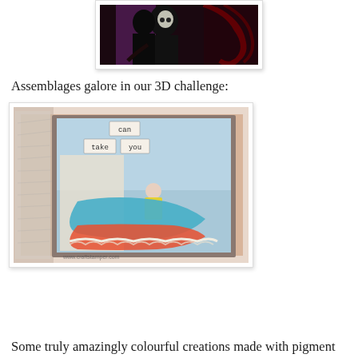[Figure (photo): Dark artistic photo showing figures with black, purple, and red elements against a dark background]
Assemblages galore in our 3D challenge:
[Figure (photo): Assemblage craft artwork showing a box with words 'can take you', containing a small doll figure with blue and colorful fabric elements and lace, on a peach/blue background. Watermark: www.craftstamper.com]
Some truly amazingly colourful creations made with pigment